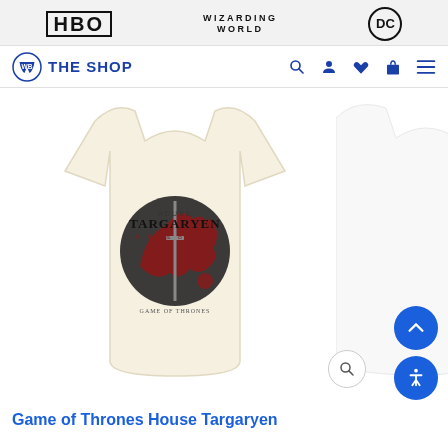[Figure (logo): Top navigation bar with HBO, Wizarding World, and DC brand logos on grey background]
[Figure (screenshot): WB The Shop navigation bar with logo and icons for search, user, wishlist, cart, and menu]
[Figure (photo): Game of Thrones House Targaryen cream t-shirt with dragon and sword graphic, Fire and Blood text. Partially visible white t-shirt on the right edge.]
Game of Thrones House Targaryen